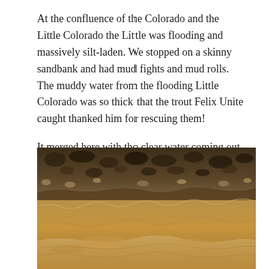At the confluence of the Colorado and the Little Colorado the Little was flooding and massively silt-laden. We stopped on a skinny sandbank and had mud fights and mud rolls. The muddy water from the flooding Little Colorado was so thick that the trout Felix Unite caught thanked him for rescuing them!
It merged here with the clear water coming out of Lake Powell – seen behind Felix – and from here on we had traditionally red-coloured water – 'colorado.'
[Figure (photo): A sepia-toned photograph of a muddy, silt-laden river with turbulent reddish-brown floodwater in the foreground and a rocky cliff face in the background.]